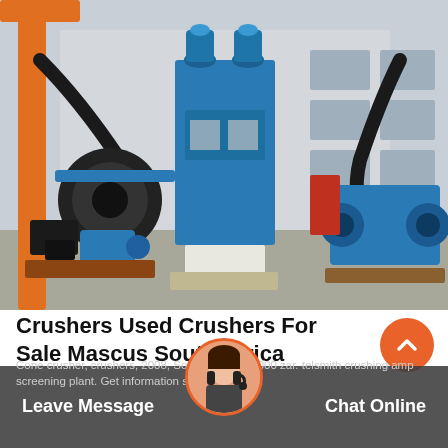[Figure (photo): Industrial crushing and screening equipment photographed outdoors at a factory yard. Features a large blue machine in the center with cyclone separators on top, flanked by blue roll crushers on the right and a drum/motor assembly on the left. Orange crane structure visible in the background. Grey industrial building behind.]
Crushers Used Crushers For Sale Mascus South Africa
Cone crusher, crushers, 2008, South Africa. 00 000 zar. telsmith crushing amp screening plant. Get information specs crushing
Leave Message   Chat Online